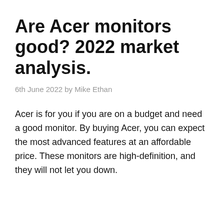Are Acer monitors good? 2022 market analysis.
6th June 2022 by Mike Ethan
Acer is for you if you are on a budget and need a good monitor. By buying Acer, you can expect the most advanced features at an affordable price. These monitors are high-definition, and they will not let you down.